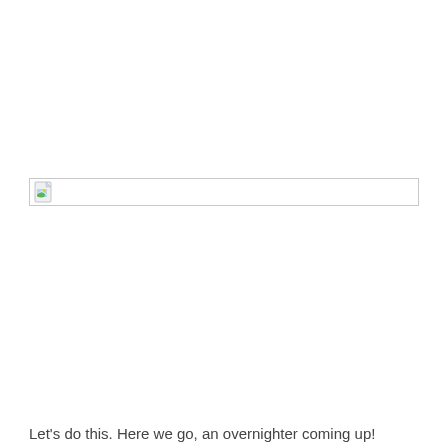[Figure (other): Broken/missing image placeholder shown as a bordered box with a broken image icon in the top-left corner]
Let's do this. Here we go, an overnighter coming up!